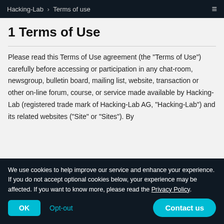Hacking-Lab > Terms of use
1 Terms of Use
Please read this Terms of Use agreement (the "Terms of Use") carefully before accessing or participation in any chat-room, newsgroup, bulletin board, mailing list, website, transaction or other on-line forum, course, or service made available by Hacking-Lab (registered trade mark of Hacking-Lab AG, "Hacking-Lab") and its related websites ("Site" or "Sites"). By
We use cookies to help improve our service and enhance your experience. If you do not accept optional cookies below, your experience may be affected. If you want to know more, please read the Privacy Policy.